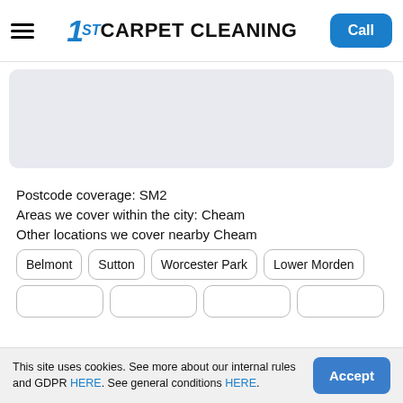1ST CARPET CLEANING
[Figure (map): Map placeholder showing a light grey/blue area representing a map view]
Postcode coverage: SM2
Areas we cover within the city: Cheam
Other locations we cover nearby Cheam
Belmont
Sutton
Worcester Park
Lower Morden
This site uses cookies. See more about our internal rules and GDPR HERE. See general conditions HERE.